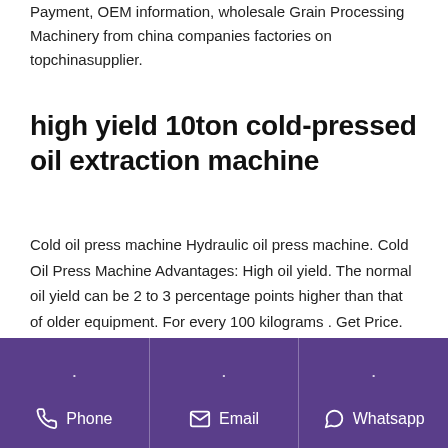Payment, OEM information, wholesale Grain Processing Machinery from china companies factories on topchinasupplier.
high yield 10ton cold-pressed oil extraction machine
Cold oil press machine Hydraulic oil press machine. Cold Oil Press Machine Advantages: High oil yield. The normal oil yield can be 2 to 3 percentage points higher than that of older equipment. For every 100 kilograms . Get Price. cold press oil extractor. Moongiantgo Oil Press Machine Automatic Oil Extractor 0-250°C for Hot Cold Electric Oil
Phone   Email   Whatsapp